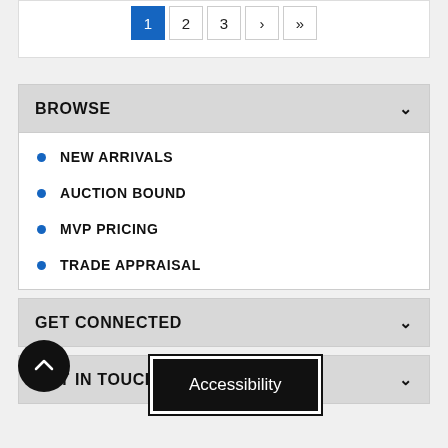[Figure (screenshot): Pagination bar with buttons 1 (active/blue), 2, 3, arrow, double-arrow]
BROWSE
NEW ARRIVALS
AUCTION BOUND
MVP PRICING
TRADE APPRAISAL
GET CONNECTED
GET IN TOUCH
Accessibility